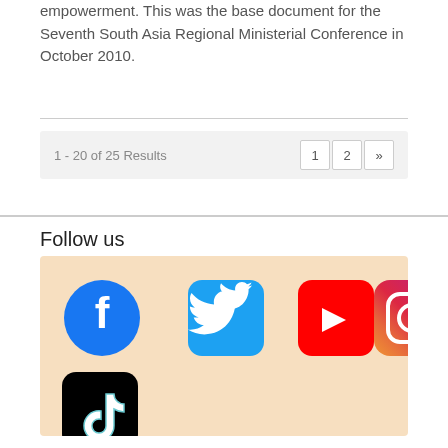empowerment. This was the base document for the Seventh South Asia Regional Ministerial Conference in October 2010.
1 - 20 of 25 Results
[Figure (infographic): Social media icons: Facebook, Twitter, YouTube, Instagram, TikTok on a light orange/peach background]
Follow us
About Us
About UN Women